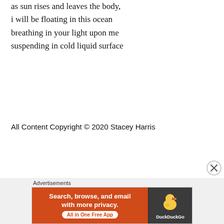as sun rises and leaves the body,
i will be floating in this ocean
breathing in your light upon me
suspending in cold liquid surface
All Content Copyright © 2020 Stacey Harris
Advertisements
[Figure (other): DuckDuckGo advertisement banner: orange left section with text 'Search, browse, and email with more privacy. All in One Free App', dark right section with DuckDuckGo duck logo and brand name.]